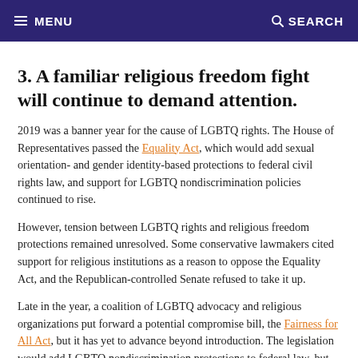≡ MENU   🔍 SEARCH
3. A familiar religious freedom fight will continue to demand attention.
2019 was a banner year for the cause of LGBTQ rights. The House of Representatives passed the Equality Act, which would add sexual orientation- and gender identity-based protections to federal civil rights law, and support for LGBTQ nondiscrimination policies continued to rise.
However, tension between LGBTQ rights and religious freedom protections remained unresolved. Some conservative lawmakers cited support for religious institutions as a reason to oppose the Equality Act, and the Republican-controlled Senate refused to take it up.
Late in the year, a coalition of LGBTQ advocacy and religious organizations put forward a potential compromise bill, the Fairness for All Act, but it has yet to advance beyond introduction. The legislation would add LGBTQ nondiscrimination protections to federal law, but would also exempt some religious objectors to same-sex marriage from them.